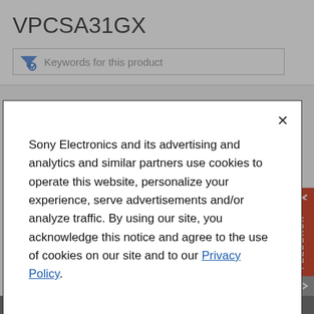VPCSA31GX
Keywords for this product
Sony Electronics and its advertising and analytics and similar partners use cookies to operate this website, personalize your experience, serve advertisements and/or analyze traffic. By using our site, you acknowledge this notice and agree to the use of cookies on our site and to our Privacy Policy.
Manage Cookies
FEEDBACK
View SafetyInfo